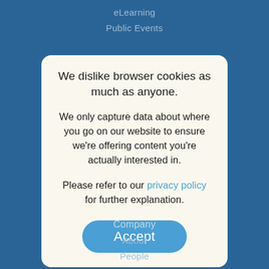eLearning
Public Events
We dislike browser cookies as much as anyone.
We only capture data about where you go on our website to ensure we're offering content you're actually interested in.
Please refer to our privacy policy for further explanation.
Accept
Company
About
People